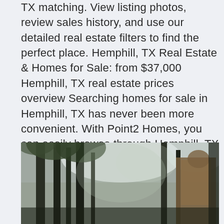TX matching. View listing photos, review sales history, and use our detailed real estate filters to find the perfect place. Hemphill, TX Real Estate & Homes for Sale: from $37,000 Hemphill, TX real estate prices overview Searching homes for sale in Hemphill, TX has never been more convenient. With Point2 Homes, you can easily browse through Hemphill, TX single family homes for sale, townhouses, condos and commercial properties, and quickly get a general perspective on the real estate prices. Immobilien Hemphill County Zu Verkaufen.
[Figure (photo): Outdoor photo showing tall pine trees against a bright sky, with a person or figure in brown/tan clothing visible on the right side, appearing to be in a forest setting.]